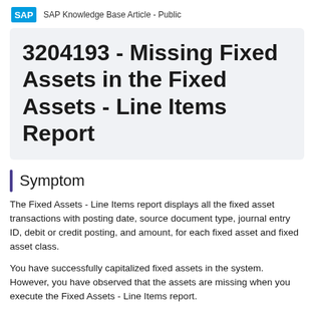SAP Knowledge Base Article - Public
3204193 - Missing Fixed Assets in the Fixed Assets - Line Items Report
Symptom
The Fixed Assets - Line Items report displays all the fixed asset transactions with posting date, source document type, journal entry ID, debit or credit posting, and amount, for each fixed asset and fixed asset class.
You have successfully capitalized fixed assets in the system. However, you have observed that the assets are missing when you execute the Fixed Assets - Line Items report.